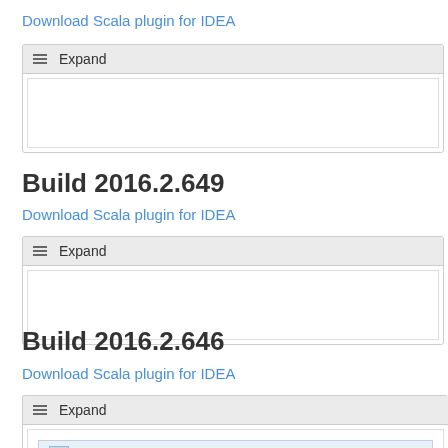Download Scala plugin for IDEA
[Figure (screenshot): Expand collapsible panel with empty white body area]
Build 2016.2.649
Download Scala plugin for IDEA
[Figure (screenshot): Expand collapsible panel with empty white body area]
Build 2016.2.646
Download Scala plugin for IDEA
[Figure (screenshot): Expand collapsible panel with Wiki Markup toolbar visible]